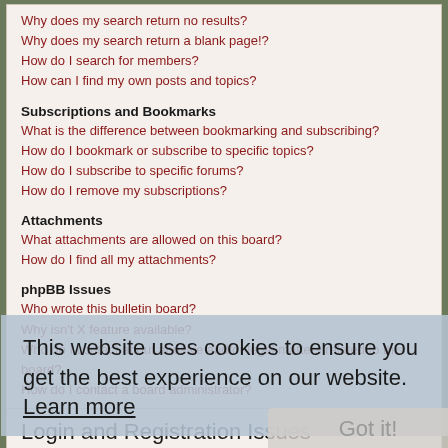Why does my search return no results?
Why does my search return a blank page!?
How do I search for members?
How can I find my own posts and topics?
Subscriptions and Bookmarks
What is the difference between bookmarking and subscribing?
How do I bookmark or subscribe to specific topics?
How do I subscribe to specific forums?
How do I remove my subscriptions?
Attachments
What attachments are allowed on this board?
How do I find all my attachments?
phpBB Issues
Who wrote this bulletin board?
Why isn't X feature available?
Who do I contact about abusive and/or legal matters related to this board?
How do I contact a board administrator?
This website uses cookies to ensure you get the best experience on our website. Learn more
Login and Registration Issues
Why do I need to register?
You may not have to, it is up to the administrator of the board as to whether you need to register in order to post messages. However;